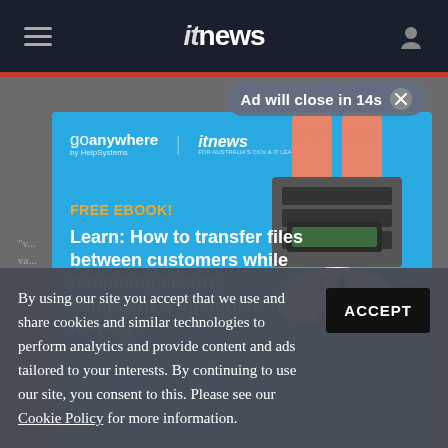itnews
Ad will close in 14s ✕
[Figure (illustration): GoAnywhere by HelpSystems advertisement banner with itnews logo. Shows a blue background with illustration of hands on a filing cabinet, cloud with arrows, and padlock. Text reads: FREE EBOOK! Learn: How to transfer files between customers while remaining secure, compliant & customer friendly!]
By using our site you accept that we use and share cookies and similar technologies to perform analytics and provide content and ads tailored to your interests. By continuing to use our site, you consent to this. Please see our Cookie Policy for more information.